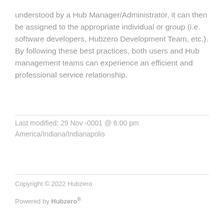understood by a Hub Manager/Administrator, it can then be assigned to the appropriate individual or group (i.e. software developers, Hubzero Development Team, etc.). By following these best practices, both users and Hub management teams can experience an efficient and professional service relationship.
Last modified: 29 Nov -0001 @ 6:00 pm America/Indiana/Indianapolis
Copyright © 2022 Hubzero
Powered by Hubzero®